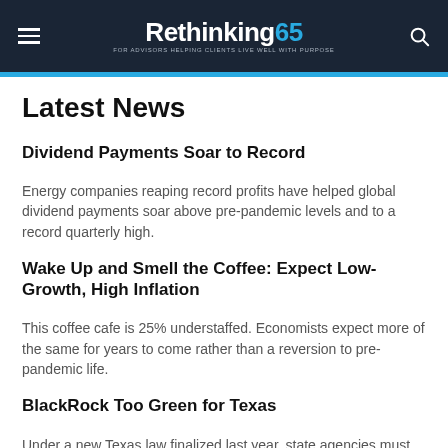Rethinking65 — FOR ADVISORS HELPING CLIENTS LIVE WELL WITH PURPOSE
Latest News
Dividend Payments Soar to Record
Energy companies reaping record profits have helped global dividend payments soar above pre-pandemic levels and to a record quarterly high.
Wake Up and Smell the Coffee: Expect Low-Growth, High Inflation
This coffee cafe is 25% understaffed. Economists expect more of the same for years to come rather than a reversion to pre-pandemic life.
BlackRock Too Green for Texas
Under a new Texas law finalized last year, state agencies must divest from financial companies identified by Hegar as